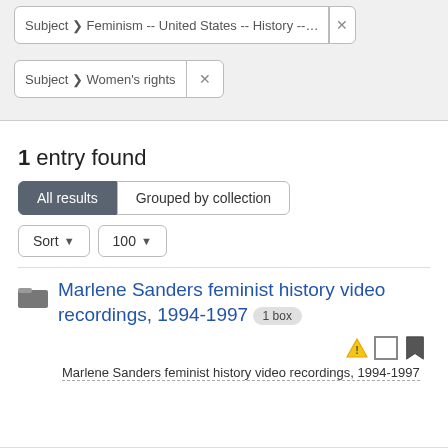Subject > Feminism -- United States -- History --... ✕
Subject > Women's rights ✕
1 entry found
All results | Grouped by collection
Sort | 100
Marlene Sanders feminist history video recordings, 1994-1997  1 box
Marlene Sanders feminist history video recordings, 1994-1997